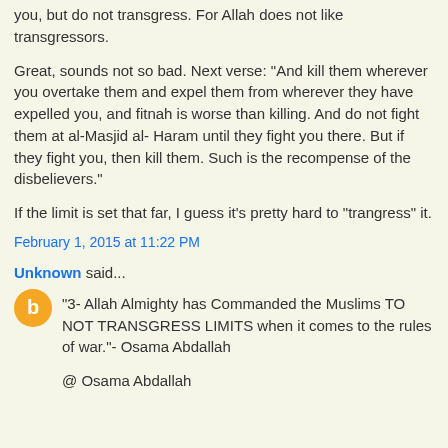you, but do not transgress. For Allah does not like transgressors.
Great, sounds not so bad. Next verse: "And kill them wherever you overtake them and expel them from wherever they have expelled you, and fitnah is worse than killing. And do not fight them at al-Masjid al-Haram until they fight you there. But if they fight you, then kill them. Such is the recompense of the disbelievers."
If the limit is set that far, I guess it's pretty hard to "trangress" it.
February 1, 2015 at 11:22 PM
Unknown said...
“3- Allah Almighty has Commanded the Muslims TO NOT TRANSGRESS LIMITS when it comes to the rules of war.”- Osama Abdallah
@ Osama Abdallah